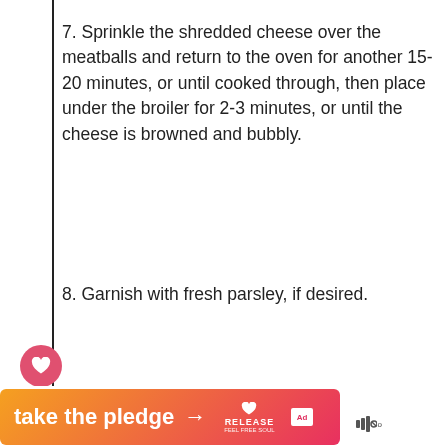7. Sprinkle the shredded cheese over the meatballs and return to the oven for another 15-20 minutes, or until cooked through, then place under the broiler for 2-3 minutes, or until the cheese is browned and bubbly.
8. Garnish with fresh parsley, if desired.
235K
[Figure (photo): Food photo thumbnail showing a burger, used in 'What's Next' section for Epic French Onion Stuffe...]
WHAT'S NEXT → Epic French Onion Stuffe...
[Figure (infographic): Advertisement banner reading 'take the pledge →' with RELEASE branding and ad marker]